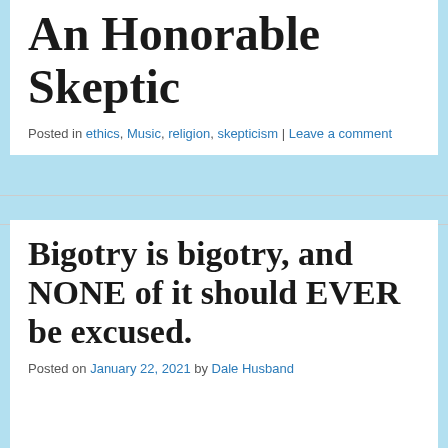An Honorable Skeptic
Posted in ethics, Music, religion, skepticism | Leave a comment
Bigotry is bigotry, and NONE of it should EVER be excused.
Posted on January 22, 2021 by Dale Husband